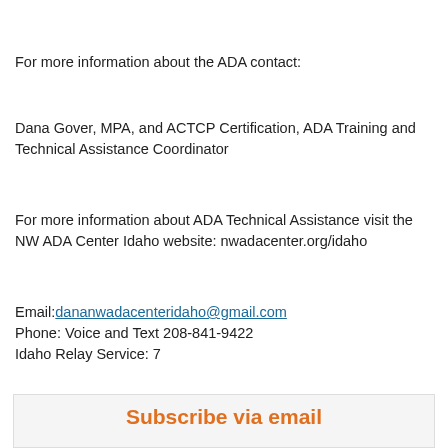For more information about the ADA contact:
Dana Gover, MPA, and ACTCP Certification, ADA Training and Technical Assistance Coordinator
For more information about ADA Technical Assistance visit the NW ADA Center Idaho website: nwadacenter.org/idaho
Email: dananwadacenteridaho@gmail.com
Phone: Voice and Text 208-841-9422
Idaho Relay Service: 7
Subscribe via email